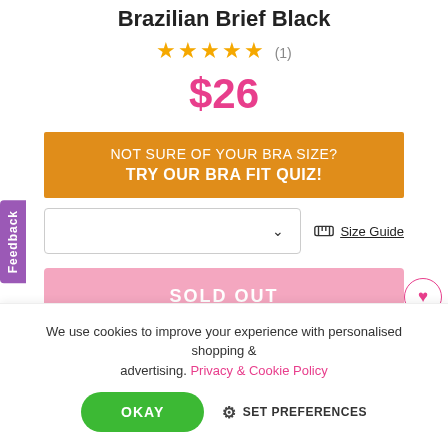Brazilian Brief Black
★★★★★ (1)
$26
NOT SURE OF YOUR BRA SIZE? TRY OUR BRA FIT QUIZ!
Size Guide
SOLD OUT
We use cookies to improve your experience with personalised shopping & advertising. Privacy & Cookie Policy
OKAY
SET PREFERENCES